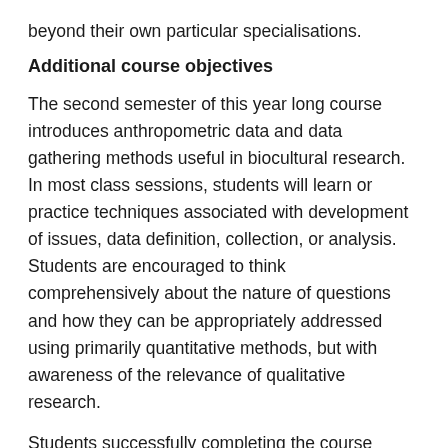beyond their own particular specialisations.
Additional course objectives
The second semester of this year long course introduces anthropometric data and data gathering methods useful in biocultural research. In most class sessions, students will learn or practice techniques associated with development of issues, data definition, collection, or analysis. Students are encouraged to think comprehensively about the nature of questions and how they can be appropriately addressed using primarily quantitative methods, but with awareness of the relevance of qualitative research.
Students successfully completing the course should:
Understand the ethical dimensions of biocultural research and be familiar with the relevant guidelines,